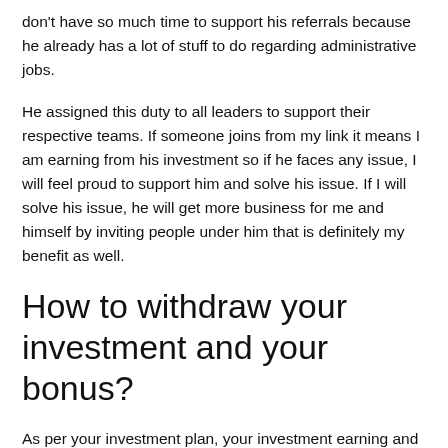don't have so much time to support his referrals because he already has a lot of stuff to do regarding administrative jobs.
He assigned this duty to all leaders to support their respective teams. If someone joins from my link it means I am earning from his investment so if he faces any issue, I will feel proud to support him and solve his issue. If I will solve his issue, he will get more business for me and himself by inviting people under him that is definitely my benefit as well.
How to withdraw your investment and your bonus?
As per your investment plan, your investment earning and referral bonus will be available on your dashboard. If you invest in the company then you will need to wait for 6-months for getting your full investment back, but if before 6-months you try to get your investment back they will deduce some amount from that because